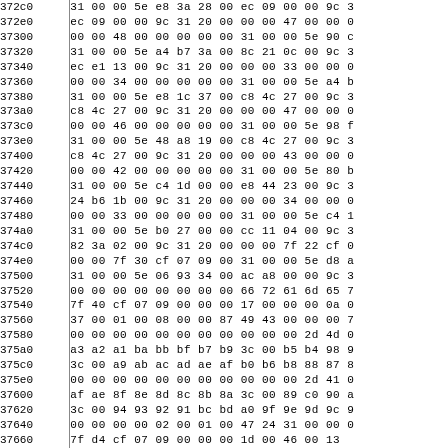| Address | Hex Data |
| --- | --- |
| 372c0 | 31 00 00 5e e8 3a 28 00 ec 09 00 00 9c 3 |
| 372e0 | ec 09 00 00 9c 31 20 00 00 00 47 00 00 0 |
| 37300 | 00 00 48 00 00 00 00 00 31 00 00 5e 90 c |
| 37320 | 31 00 00 5e a4 b7 3a 00 8c 21 0c 00 9c 3 |
| 37340 | ec e1 13 00 9c 31 20 00 00 00 33 00 00 0 |
| 37360 | 00 00 34 00 00 00 00 00 31 00 00 5e a4 b |
| 37380 | 31 00 00 5e e8 1c 37 00 c8 4c 27 00 9c 3 |
| 373a0 | c8 4c 27 00 9c 31 20 00 00 00 47 00 00 0 |
| 373c0 | 00 00 46 00 00 00 00 00 31 00 00 5e 98 f |
| 373e0 | 31 00 00 5e 48 a8 19 00 c8 4c 27 00 9c 3 |
| 37400 | c8 4c 27 00 9c 31 20 00 00 00 43 00 00 0 |
| 37420 | 00 00 42 00 00 00 00 00 31 00 00 5e 80 b |
| 37440 | 31 00 00 5e c4 1d 00 00 e8 44 23 00 9c 3 |
| 37460 | 24 b6 1b 00 9c 31 20 00 00 00 34 00 00 0 |
| 37480 | 00 00 33 00 00 00 00 00 31 00 00 5e c4 1 |
| 374a0 | 31 00 00 5e b0 27 00 00 cc 11 04 00 9c 3 |
| 374c0 | 82 3a 02 00 9c 31 20 00 00 00 7f 22 cf 0 |
| 374e0 | 00 00 7f 30 cf 07 09 00 31 00 00 5e d8 a |
| 37500 | 31 00 00 5e 06 93 34 00 ac a8 00 00 9c 3 |
| 37520 | 00 00 00 00 00 00 00 00 66 72 61 6d 65 7 |
| 37540 | 7f 40 cf 07 09 00 00 00 17 00 00 00 0a 0 |
| 37560 | 37 00 01 00 08 00 00 87 49 43 00 00 00 7 |
| 37580 | 00 00 00 00 00 00 00 00 00 00 00 2d 4d 0 |
| 375a0 | a3 a2 a1 ba bb bf b7 b9 3c 00 b5 b4 98 9 |
| 375c0 | 3c 00 a9 ab ac ad ae af b0 b6 b8 88 87 8 |
| 375e0 | 00 00 00 00 00 00 00 00 00 00 00 2d 41 0 |
| 37600 | af ae 8f 8e 8d 8c 8b 8a 3c 00 89 c0 90 a |
| 37620 | 3c 00 94 93 92 91 bc bd a0 9f 9e 9d 9c 9 |
| 37640 | 00 00 00 00 02 00 01 00 47 24 31 00 00 0 |
| 37660 | 7f d4 cf 07 09 00 00 00 1d 00 46 00 13  |